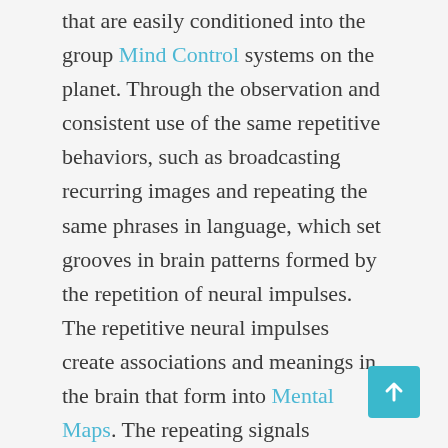that are easily conditioned into the group Mind Control systems on the planet. Through the observation and consistent use of the same repetitive behaviors, such as broadcasting recurring images and repeating the same phrases in language, which set grooves in brain patterns formed by the repetition of neural impulses. The repetitive neural impulses create associations and meanings in the brain that form into Mental Maps. The repeating signals transmitted in the neural impulses of mental maps are formed by groups of people, which then spread to other people through the mere act of observing those same behaviors and actions. If the people involved are unconscious of their reactions and unaware of what they are observing, they absorb the information of those